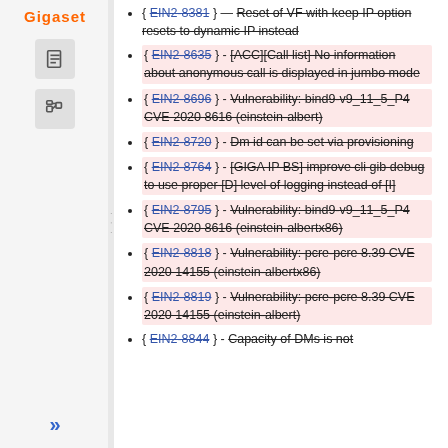{ EIN2-8381 } — Reset of VF with keep IP option resets to dynamic IP instead
{ EIN2-8635 } - [ACC][Call list] No information about anonymous call is displayed in jumbo mode
{ EIN2-8696 } - Vulnerability: bind9-v9_11_5_P4 CVE 2020 8616 (einstein-albert)
{ EIN2-8720 } - Dm id can be set via provisioning
{ EIN2-8764 } - [GIGA IP BS] improve cli gib debug to use proper [D] level of logging instead of [I]
{ EIN2-8795 } - Vulnerability: bind9-v9_11_5_P4 CVE 2020 8616 (einstein-albertx86)
{ EIN2-8818 } - Vulnerability: pcre-pcre 8.39 CVE 2020 14155 (einstein-albertx86)
{ EIN2-8819 } - Vulnerability: pcre-pcre 8.39 CVE 2020 14155 (einstein-albert)
{ EIN2-8844 } - Capacity of DMs is not